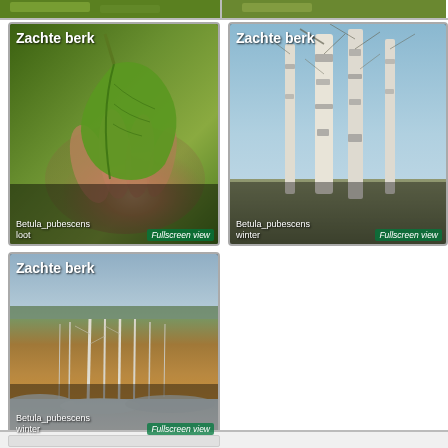[Figure (photo): Partial top strip showing two cropped plant/nature photos]
[Figure (photo): Zachte berk - close-up photo of a hand holding a green birch leaf (Betula pubescens loot), with Fullscreen view link]
[Figure (photo): Zachte berk - winter photo of bare birch trees (Betula pubescens winter) against blue sky, with Fullscreen view link]
[Figure (photo): Zachte berk - winter landscape photo showing birch trees in snowy field (Betula pubescens winter), with Fullscreen view link]